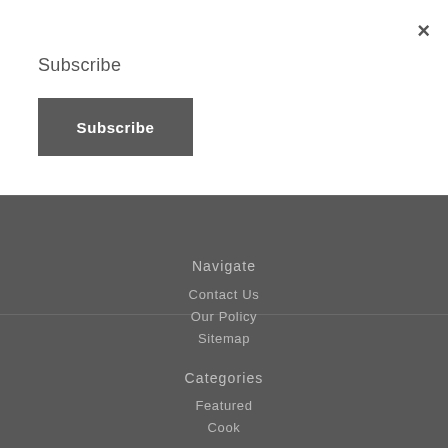×
Subscribe
Subscribe
Navigate
Contact Us
Our Policy
Sitemap
Categories
Featured
Cook